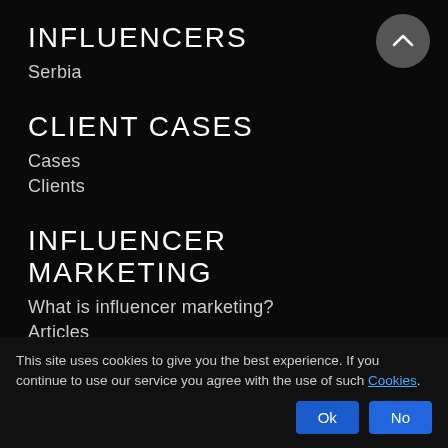INFLUENCERS
Serbia
CLIENT CASES
Cases
Clients
INFLUENCER MARKETING
What is influencer marketing?
Articles
Newsletter
This site uses cookies to give you the best experience. If you continue to use our service you agree with the use of such Cookies.